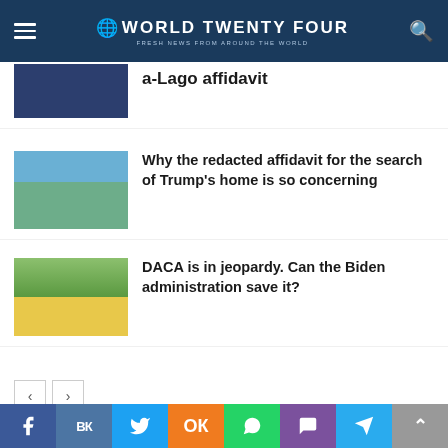World Twenty Four — Fresh News from Around the World
a-Lago affidavit
Why the redacted affidavit for the search of Trump's home is so concerning
DACA is in jeopardy. Can the Biden administration save it?
LEAVE A REPLY
Social share bar: Facebook, VK, Twitter, OK, WhatsApp, Viber, Telegram, Top